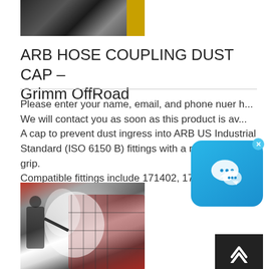[Figure (photo): Photo of industrial hoses/couplings, dark background with yellow equipment visible]
ARB HOSE COUPLING DUST CAP – Grimm OffRoad
Please enter your name, email, and phone nuer h... We will contact you as soon as this product is av... A cap to prevent dust ingress into ARB US Industrial Standard (ISO 6150 B) fittings with a rubber heat grip. Compatible fittings include 171402, 171403, 07... nd ...
[Figure (photo): Photo of a worker using a pressure washer with steam/smoke on industrial equipment, red machinery visible]